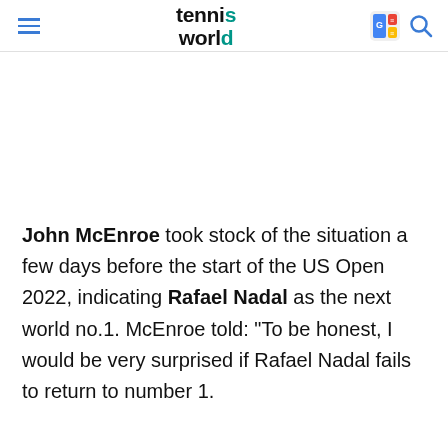tennis world
John McEnroe took stock of the situation a few days before the start of the US Open 2022, indicating Rafael Nadal as the next world no.1. McEnroe told: "To be honest, I would be very surprised if Rafael Nadal fails to return to number 1.